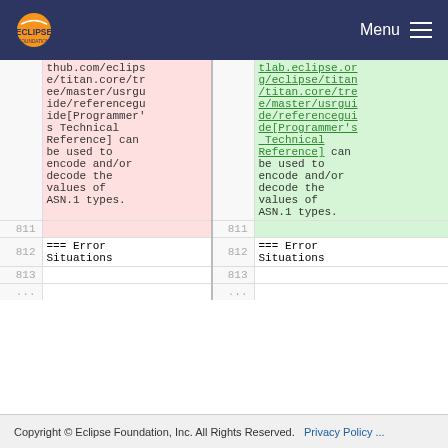Eclipse Foundation  Menu
| line-num-left | content-left | line-num-right | content-right |
| --- | --- | --- | --- |
|  | thub.com/eclipse/titan.core/tree/master/usrguide/referenceguide[Programmer's Technical Reference] can be used to encode and/or decode the values of ASN.1 types. |  | tlab.eclipse.org/eclipse/titan/titan.core/tree/master/usrguide/referenceguide[Programmer's Technical Reference] can be used to encode and/or decode the values of ASN.1 types. |
| 811 |  | 811 |  |
| 812 | === Error Situations | 812 | === Error Situations |
| 813 |  | 813 |  |
| ... |  | ... |  |
Copyright © Eclipse Foundation, Inc. All Rights Reserved.   Privacy Policy ...